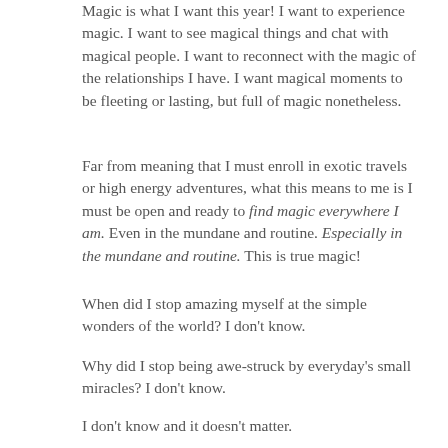Magic is what I want this year! I want to experience magic. I want to see magical things and chat with magical people. I want to reconnect with the magic of the relationships I have. I want magical moments to be fleeting or lasting, but full of magic nonetheless.
Far from meaning that I must enroll in exotic travels or high energy adventures, what this means to me is I must be open and ready to find magic everywhere I am. Even in the mundane and routine. Especially in the mundane and routine. This is true magic!
When did I stop amazing myself at the simple wonders of the world? I don't know.
Why did I stop being awe-struck by everyday's small miracles? I don't know.
I don't know and it doesn't matter.
What I do know is 2017 is the year in which magic follows me everywhere I go, I find it in everything I do, and it comes from all who cross my path.